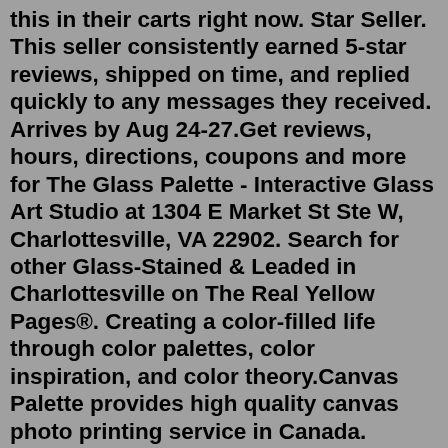this in their carts right now. Star Seller. This seller consistently earned 5-star reviews, shipped on time, and replied quickly to any messages they received. Arrives by Aug 24-27.Get reviews, hours, directions, coupons and more for The Glass Palette - Interactive Glass Art Studio at 1304 E Market St Ste W, Charlottesville, VA 22902. Search for other Glass-Stained & Leaded in Charlottesville on The Real Yellow Pages®. Creating a color-filled life through color palettes, color inspiration, and color theory.Canvas Palette provides high quality canvas photo printing service in Canada. Based in the Greater Toronto Area ( GTA) we do all the printing and framing from our facility located at 215 Carlingview Drive, Etobicoke, Ontario Call us :416-798-1050 | Email us: info@ ...Restaurants near The Glass Palette - Interactive Glass Art Studio: (0.01 mi) Firefly Charlottesville (0.10 mi) Beer Run (0.10 mi) Pad Thai (0.09 mi) Holly's Diner (0.16 mi) Belmont Pizza and Pub; View all restaurants near The Glass Palette - Interactive Glass Art Studio; Tripadvisin